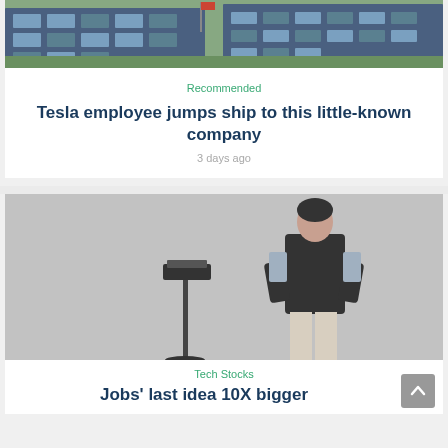[Figure (photo): Aerial/drone view of a modern office building complex with green lawns and parking area, partially visible (cropped at top)]
Recommended
Tesla employee jumps ship to this little-known company
3 days ago
[Figure (photo): A person in a dark vest and light shirt standing next to a small device on a pole, on a gray background]
Tech Stocks
Jobs' last idea 10X bigger